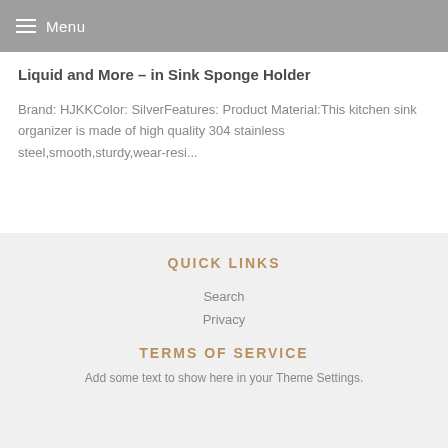Menu
Liquid and More – in Sink Sponge Holder
Brand: HJKKColor: SilverFeatures: Product Material:This kitchen sink organizer is made of high quality 304 stainless steel,smooth,sturdy,wear-resi...
QUICK LINKS
Search
Privacy
TERMS OF SERVICE
Add some text to show here in your Theme Settings.